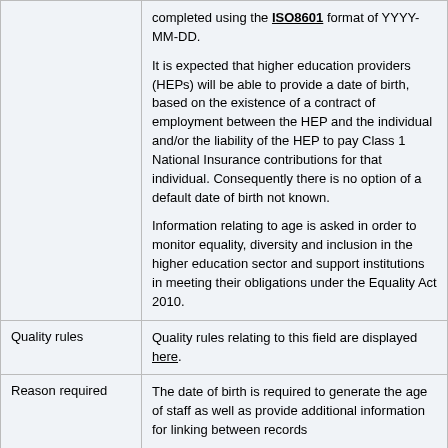| Field | Description |
| --- | --- |
|  | completed using the ISO8601 format of YYYY-MM-DD.

It is expected that higher education providers (HEPs) will be able to provide a date of birth, based on the existence of a contract of employment between the HEP and the individual and/or the liability of the HEP to pay Class 1 National Insurance contributions for that individual. Consequently there is no option of a default date of birth not known.

Information relating to age is asked in order to monitor equality, diversity and inclusion in the higher education sector and support institutions in meeting their obligations under the Equality Act 2010. |
| Quality rules | Quality rules relating to this field are displayed here. |
| Reason required | The date of birth is required to generate the age of staff as well as provide additional information for linking between records |
| Part of | Person |
| Field length | 10 |
| Minimum occurrences | 1 |